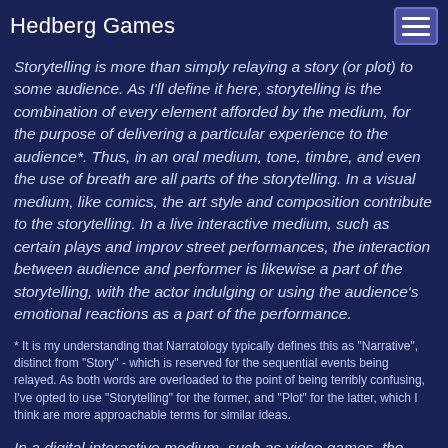Hedberg Games
Storytelling is more than simply relaying a story (or plot) to some audience. As I'll define it here, storytelling is the combination of every element afforded by the medium, for the purpose of delivering a particular experience to the audience*. Thus, in an oral medium, tone, timbre, and even the use of breath are all parts of the storytelling. In a visual medium, like comics, the art style and composition contribute to the storytelling. In a live interactive medium, such as certain plays and improv street performances, the interaction between audience and performer is likewise a part of the storytelling, with the actor indulging or using the audience's emotional reactions as a part of the performance.
* It is my understanding that Narratology typically defines this as "Narrative", distinct from "Story" - which is reserved for the sequential events being relayed. As both words are overloaded to the point of being terribly confusing, I've opted to use "Storytelling" for the former, and "Plot" for the latter, which I think are more approachable terms for similar ideas.
In a digital interactive medium, such as video games, the audience's (player's) interactions and experiences are just as much a part of the storytelling. The most obvious example of this is a player choice influencing the plot, but this extends much further -